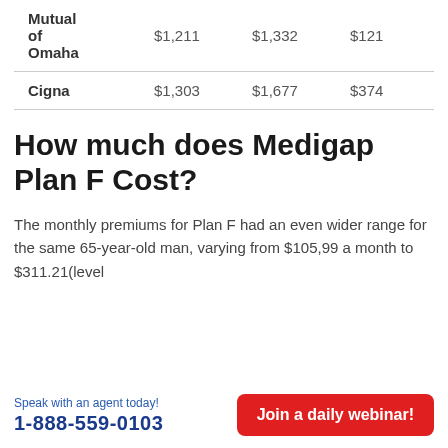| Company | Col1 | Col2 | Col3 |
| --- | --- | --- | --- |
| Mutual of Omaha | $1,211 | $1,332 | $121 |
| Cigna | $1,303 | $1,677 | $374 |
How much does Medigap Plan F Cost?
The monthly premiums for Plan F had an even wider range for the same 65-year-old man, varying from $105,99 a month to $311.21(level
Speak with an agent today! 1-888-559-0103 | Join a daily webinar!